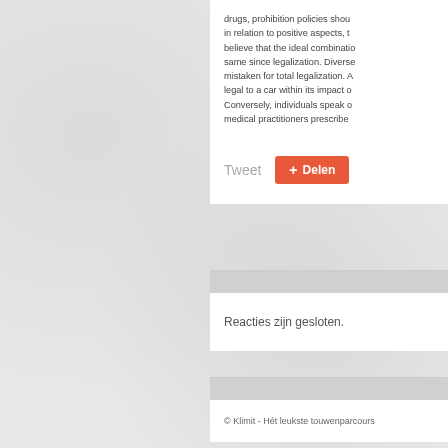drugs, prohibition policies shou in relation to positive aspects, t believe that the ideal combinatio same since legalization. Diverse mistaken for total legalization. A legal to a car within its impact o Conversely, individuals speak o medical practitioners prescribe
Tweet   Delen
Reacties zijn gesloten.
© Klimit - Hét leukste touwenparcours